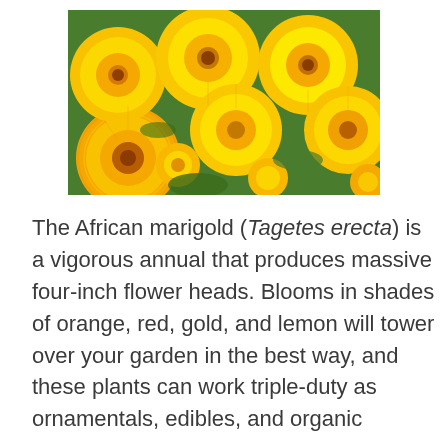[Figure (photo): Close-up photograph of bright yellow African marigold (Tagetes erecta) flowers in full bloom, with dense rounded petals and green foliage visible in the background.]
The African marigold (Tagetes erecta) is a vigorous annual that produces massive four-inch flower heads. Blooms in shades of orange, red, gold, and lemon will tower over your garden in the best way, and these plants can work triple-duty as ornamentals, edibles, and organic